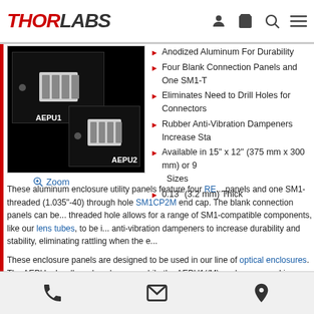THORLABS
[Figure (photo): Two black anodized aluminum enclosure utility panels (AEPU1 and AEPU2) with SM1-threaded connection panels shown on dark background]
Zoom
Anodized Aluminum For Durability
Four Blank Connection Panels and One SM1-T...
Eliminates Need to Drill Holes for Connectors
Rubber Anti-Vibration Dampeners Increase Sta...
Available in 15" x 12" (375 mm x 300 mm) or 9... Sizes
0.13" (3.2 mm) Thick
These aluminum enclosure utility panels feature four RE... panels and one SM1-threaded (1.035"-40) through hole ... SM1CP2M end cap. The blank connection panels can be... threaded hole allows for a range of SM1-compatible components, like our lens tubes, to be i... anti-vibration dampeners to increase durability and stability, eliminating rattling when the e...
These enclosure panels are designed to be used in our line of optical enclosures. The AEPU... hardboard enclosures, while the AEPU1(/M) enclosure panel is compatible with the XE25C... XE25C10D(/M) Plexiglass enclosures. Note the AEPU1(/M) is already included with our X...
These aluminum enclosure panels are offered in custom sizes and designs. Please send all ir...
Phone | Email | Location